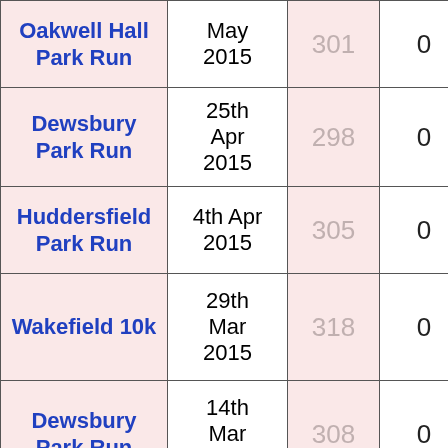| Event | Date | Position | Points |
| --- | --- | --- | --- |
| Oakwell Hall Park Run | May 2015 | 301 | 0 |
| Dewsbury Park Run | 25th Apr 2015 | 298 | 0 |
| Huddersfield Park Run | 4th Apr 2015 | 305 | 0 |
| Wakefield 10k | 29th Mar 2015 | 318 | 0 |
| Dewsbury Park Run | 14th Mar 2015 | 308 | 0 |
| Dewsbury Park Run | 7th Mar 2015 | 314 | 0 |